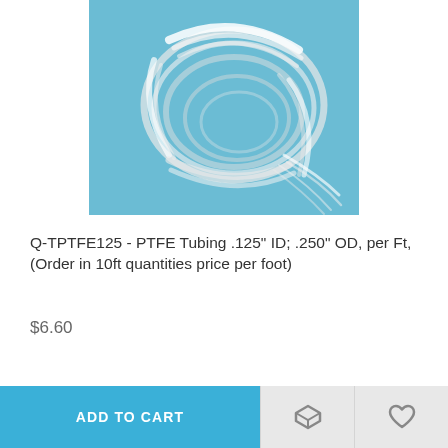[Figure (photo): Coil of clear/white PTFE tubing on a blue background]
Q-TPTFE125 - PTFE Tubing .125" ID; .250" OD, per Ft, (Order in 10ft quantities price per foot)
$6.60
ADD TO CART